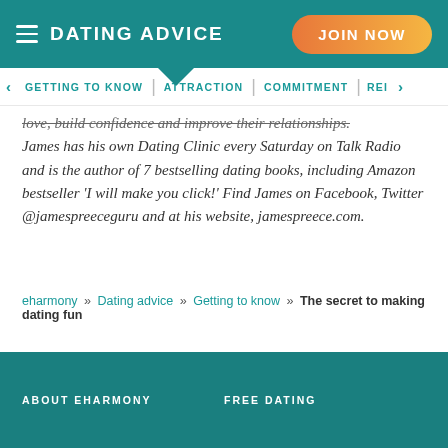DATING ADVICE
JOIN NOW
GETTING TO KNOW | ATTRACTION | COMMITMENT | REI
love, build confidence and improve their relationships. James has his own Dating Clinic every Saturday on Talk Radio and is the author of 7 bestselling dating books, including Amazon bestseller 'I will make you click!' Find James on Facebook, Twitter @jamespreeceguru and at his website, jamespreece.com.
eharmony » Dating advice » Getting to know » The secret to making dating fun
ABOUT EHARMONY   FREE DATING